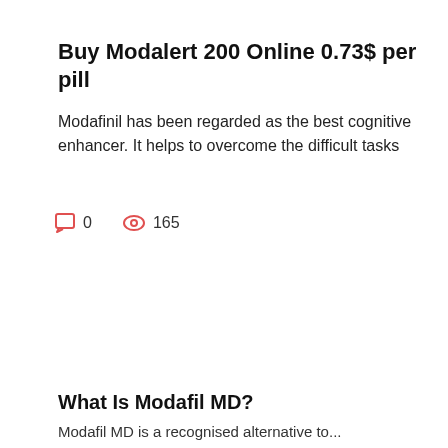Buy Modalert 200 Online 0.73$ per pill
Modafinil has been regarded as the best cognitive enhancer. It helps to overcome the difficult tasks
0   165
What Is Modafil MD?
Modafil MD is...